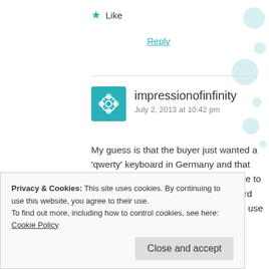★ Like
Reply
impressionofinfinity
July 2, 2013 at 10:42 pm
My guess is that the buyer just wanted a 'qwerty' keyboard in Germany and that was the easiest/cheapest/quickest one to sell to her. A German 'qwertz' keyboard on a typewriter is, at first, annoying to use when you type in English and are
Privacy & Cookies: This site uses cookies. By continuing to use this website, you agree to their use.
To find out more, including how to control cookies, see here: Cookie Policy
Close and accept